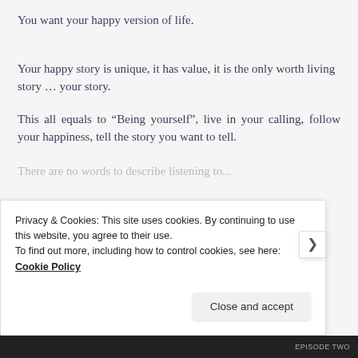You want your happy version of life.
Your happy story is unique, it has value, it is the only worth living story … your story.
This all equals to “Being yourself”, live in your calling, follow your happiness, tell the story you want to tell.
Privacy & Cookies: This site uses cookies. By continuing to use this website, you agree to their use.
To find out more, including how to control cookies, see here: Cookie Policy
Close and accept